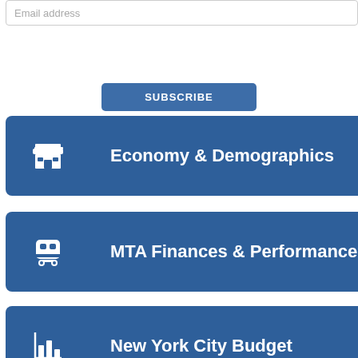Email address
SUBSCRIBE
Economy & Demographics
MTA Finances & Performance
New York City Budget